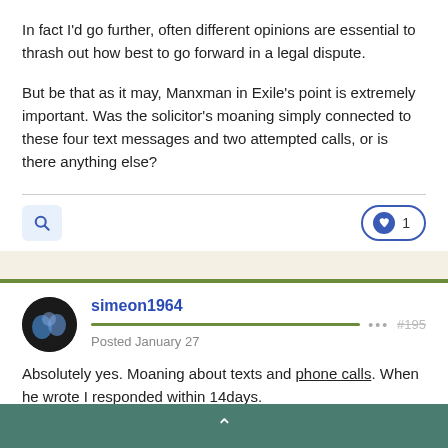In fact I'd go further, often different opinions are essential to thrash out how best to go forward in a legal dispute.
But be that as it may, Manxman in Exile's point is extremely important. Was the solicitor's moaning simply connected to these four text messages and two attempted calls, or is there anything else?
simeon1964
Posted January 27
Absolutely yes. Moaning about texts and phone calls. When he wrote I responded within 14days.